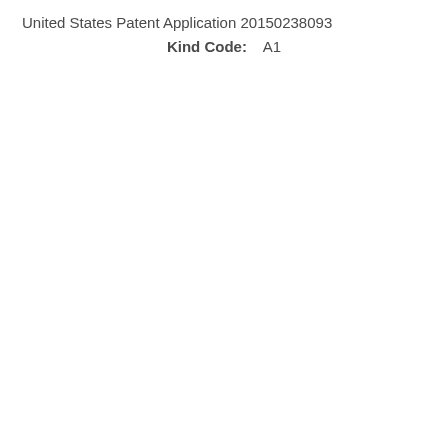United States Patent Application 20150238093
Kind Code:    A1